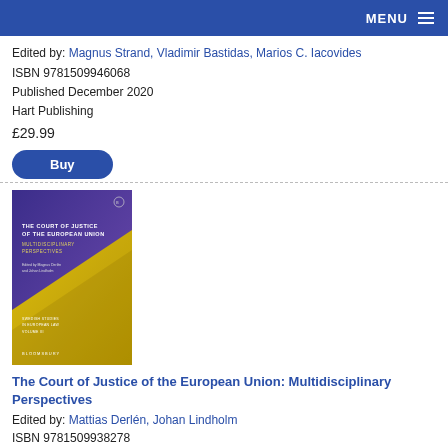MENU
Edited by: Magnus Strand, Vladimir Bastidas, Marios C. Iacovides
ISBN 9781509946068
Published December 2020
Hart Publishing
£29.99
Buy
[Figure (photo): Book cover of 'The Court of Justice of the European Union: Multidisciplinary Perspectives', Bloomsbury, Swedish Studies in European Law Volume III, with purple and yellow design]
The Court of Justice of the European Union: Multidisciplinary Perspectives
Edited by: Mattias Derlén, Johan Lindholm
ISBN 9781509938278